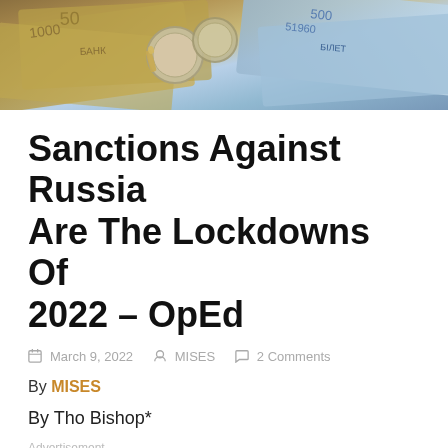[Figure (photo): Hero image showing Russian ruble banknotes and coins spread out]
Sanctions Against Russia Are The Lockdowns Of 2022 – OpEd
March 9, 2022  MISES  2 Comments
By MISES
By Tho Bishop*
Advertisement
Russia's invasion of Ukraine is nearing its second week. Vladimir Putin's military continues its push west, with clear attempts to encircle Kyiv. To date, theefully American and its North Atlantic Treaty...